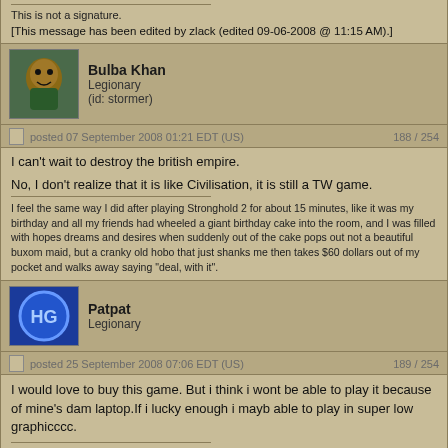This is not a signature.
[This message has been edited by zlack (edited 09-06-2008 @ 11:15 AM).]
Bulba Khan
Legionary
(id: stormer)
posted 07 September 2008 01:21 EDT (US)   188 / 254
I can't wait to destroy the british empire.

No, I don't realize that it is like Civilisation, it is still a TW game.

I feel the same way I did after playing Stronghold 2 for about 15 minutes, like it was my birthday and all my friends had wheeled a giant birthday cake into the room, and I was filled with hopes dreams and desires when suddenly out of the cake pops out not a beautiful buxom maid, but a cranky old hobo that just shanks me then takes $60 dollars out of my pocket and walks away saying "deal, with it".
Patpat
Legionary
posted 25 September 2008 07:06 EDT (US)   189 / 254
I would love to buy this game. But i think i wont be able to play it because of mine's dam laptop.If i lucky enough i mayb able to play in super low graphicccc.

not again...
gazsmith6